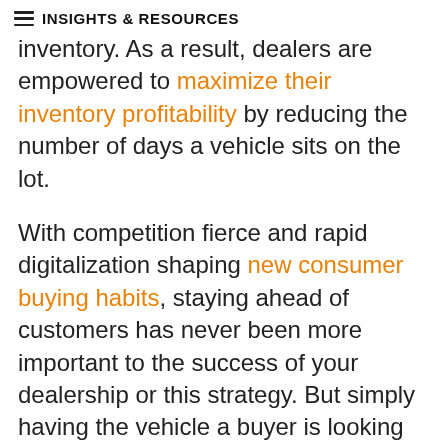INSIGHTS & RESOURCES
inventory. As a result, dealers are empowered to maximize their inventory profitability by reducing the number of days a vehicle sits on the lot.
With competition fierce and rapid digitalization shaping new consumer buying habits, staying ahead of customers has never been more important to the success of your dealership or this strategy. But simply having the vehicle a buyer is looking for in stock is only one piece of the puzzle.
The rapid digitalization of car buying has